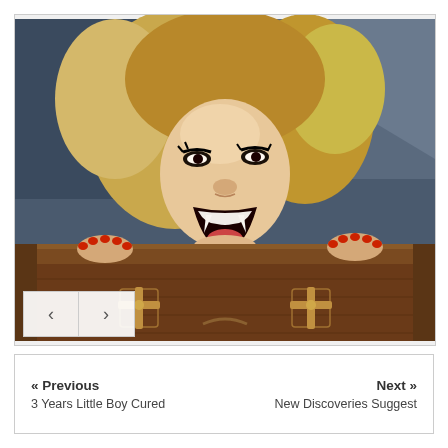[Figure (photo): A blonde woman in a black low-cut dress with her mouth open wide, appearing to scream or hiss like a vampire, with red fingernails, rising from what appears to be a wooden coffin with cross ornaments. Navigation arrows (< and >) are visible in the lower left corner of the photo frame.]
« Previous    Next »
3 Years Little Boy Cured    New Discoveries Suggest